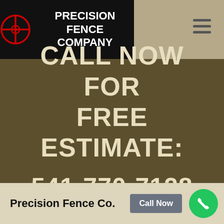[Figure (logo): Precision Fence Company logo with crosshair/target icon on black background]
CALL NOW FOR FREE ESTIMATE: 541-770-7128
Precision Fence Co.
Call Now